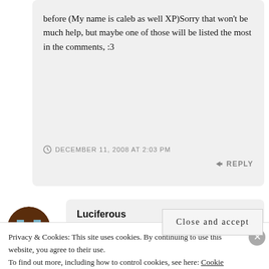before (My name is caleb as well XP)Sorry that won't be much help, but maybe one of those will be listed the most in the comments, :3
DECEMBER 11, 2008 AT 2:03 PM
↳ REPLY
[Figure (illustration): Circular avatar with a pixel-art style image in brown and light blue tones]
Luciferous
Privacy & Cookies: This site uses cookies. By continuing to use this website, you agree to their use.
To find out more, including how to control cookies, see here: Cookie Policy
Close and accept